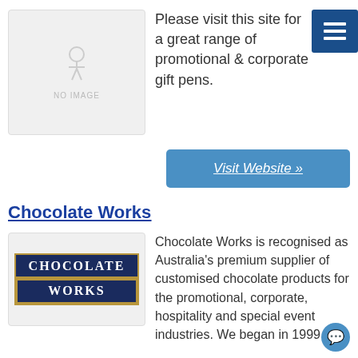[Figure (illustration): No image placeholder box with grey background and NO IMAGE text]
Please visit this site for a great range of promotional & corporate gift pens.
[Figure (other): Hamburger menu icon — three white horizontal lines on dark blue background]
Visit Website »
Chocolate Works
[Figure (logo): Chocolate Works logo: dark navy background with gold border, text CHOCOLATE WORKS in white serif font]
Chocolate Works is recognised as Australia's premium supplier of customised chocolate products for the promotional, corporate, hospitality and special event industries. We began in 1999 and